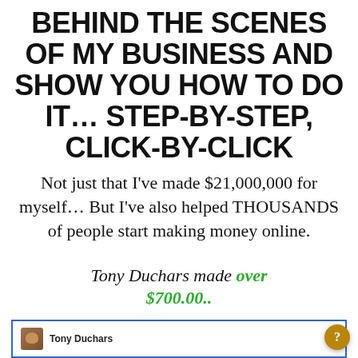BEHIND THE SCENES OF MY BUSINESS AND SHOW YOU HOW TO DO IT… STEP-BY-STEP, CLICK-BY-CLICK
Not just that I've made $21,000,000 for myself… But I've also helped THOUSANDS of people start making money online.
Tony Duchars made over $700.00..
[Figure (screenshot): Partial screenshot showing a social media or testimonial post from Tony Duchars with a profile photo]